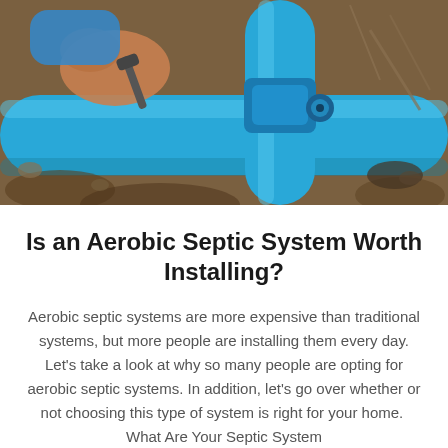[Figure (photo): Close-up photo of a person's hand using a wrench on blue PVC pipe fittings in a dirt trench, showing aerobic septic system pipe installation.]
Is an Aerobic Septic System Worth Installing?
Aerobic septic systems are more expensive than traditional systems, but more people are installing them every day. Let's take a look at why so many people are opting for aerobic septic systems. In addition, let's go over whether or not choosing this type of system is right for your home.  What Are Your Septic System